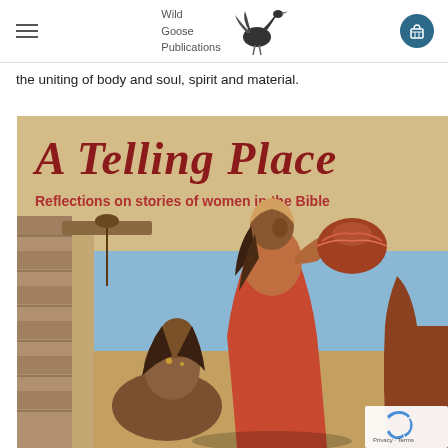Wild Goose Publications
the uniting of body and soul, spirit and material.
[Figure (illustration): Book cover of 'A Telling Place: Reflections on stories of women in the Bible' showing illustrated women at a well in ancient biblical setting with sandy/ochre background and blue sky]